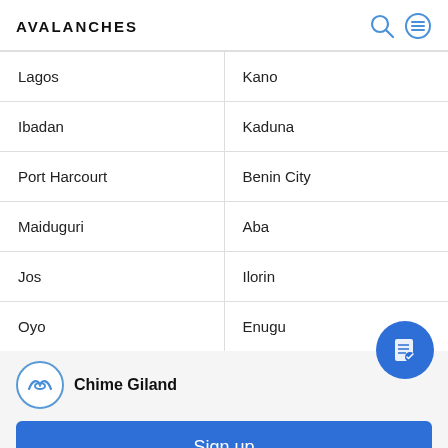AVALANCHES
| Lagos | Kano |
| Ibadan | Kaduna |
| Port Harcourt | Benin City |
| Maiduguri | Aba |
| Jos | Ilorin |
| Oyo | Enugu |
Chime Giland
Sign up